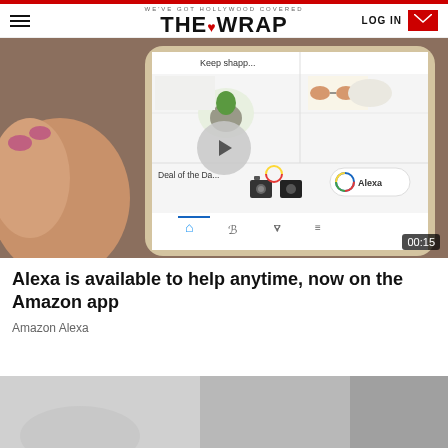WE'VE GOT HOLLYWOOD COVERED — THE WRAP — LOG IN
[Figure (screenshot): Video thumbnail showing a hand holding a smartphone with the Amazon app open, displaying shopping items (plant, sunglasses, shoes) and the Alexa button. A play button overlay is shown in the center and a 00:15 duration badge in the bottom right corner.]
Alexa is available to help anytime, now on the Amazon app
Amazon Alexa